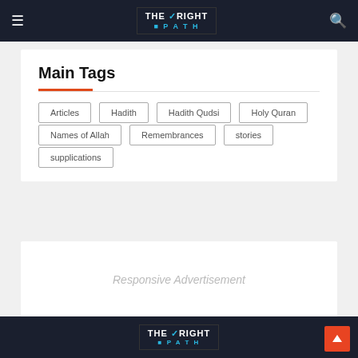THE RIGHT PATH
Main Tags
Articles
Hadith
Hadith Qudsi
Holy Quran
Names of Allah
Remembrances
stories
supplications
[Figure (other): Responsive Advertisement placeholder box]
THE RIGHT PATH